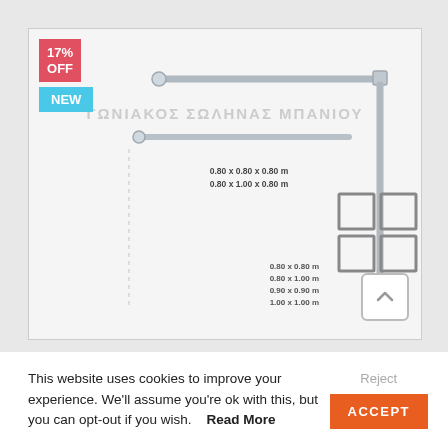[Figure (photo): Product photo of a corner shower curtain rod (ΓΩΝΙΑΚΟΣ ΣΩΛΗΝΑΣ ΜΠΑΝΙΟΥ) shown with discount badge 17% OFF and NEW label. The rod is L-shaped/corner style in chrome, with dimension options listed: 0.80x0.80x0.80m, 0.80x1.00x0.80m and 0.80x0.80m, 0.80x1.00m, 0.90x0.90m, 1.00x1.00m. A scroll-up button is shown in the bottom right.]
This website uses cookies to improve your experience. We'll assume you're ok with this, but you can opt-out if you wish.    Read More